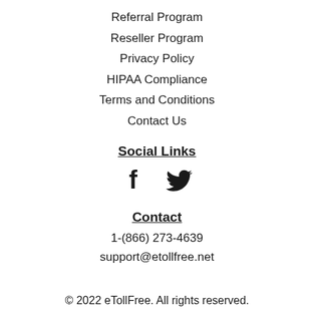Referral Program
Reseller Program
Privacy Policy
HIPAA Compliance
Terms and Conditions
Contact Us
Social Links
[Figure (illustration): Facebook and Twitter social media icons]
Contact
1-(866) 273-4639
support@etollfree.net
© 2022 eTollFree. All rights reserved.